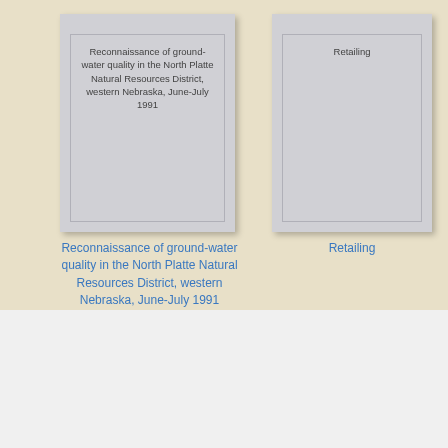[Figure (illustration): Book cover thumbnail for 'Reconnaissance of ground-water quality in the North Platte Natural Resources District, western Nebraska, June-July 1991' shown as a gray card with title text]
[Figure (illustration): Book cover thumbnail for 'Retailing' shown as a gray card with title text]
Reconnaissance of ground-water quality in the North Platte Natural Resources District, western Nebraska, June-July 1991
Retailing
Young Renny (Jalna-1906) by Mazo De la Roche
Download PDF EPUB FB2